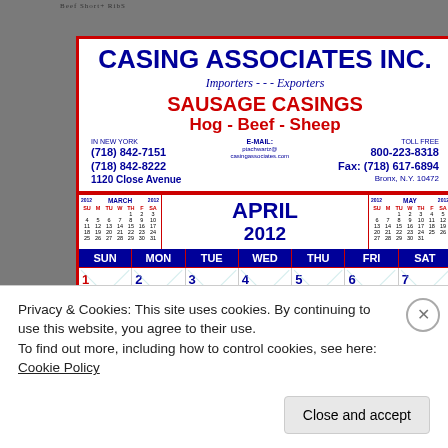[Figure (photo): Photo of a wall calendar for Casing Associates Inc. advertising sausage casings, showing April 2012, with mini calendars for March and May on the sides.]
CASING ASSOCIATES INC.
Importers - - - Exporters
SAUSAGE CASINGS
Hog - Beef - Sheep
IN NEW YORK
(718) 842-7151
(718) 842-8222
1120 Close Avenue

E-MAIL:
ptachwartz@casingassociates.com

TOLL FREE
800-223-8318
Fax: (718) 617-6894
Bronx, N.Y. 10472
APRIL 2012
SUN MON TUE WED THU FRI SAT
1 2 3 4 5 6 7
Privacy & Cookies: This site uses cookies. By continuing to use this website, you agree to their use.
To find out more, including how to control cookies, see here: Cookie Policy